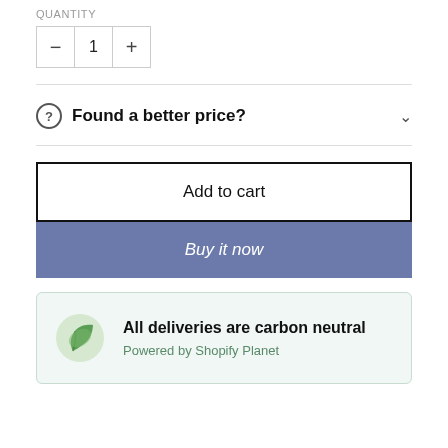QUANTITY
[Figure (other): Quantity selector control showing minus button, value 1, and plus button]
Found a better price?
Add to cart
Buy it now
All deliveries are carbon neutral
Powered by Shopify Planet